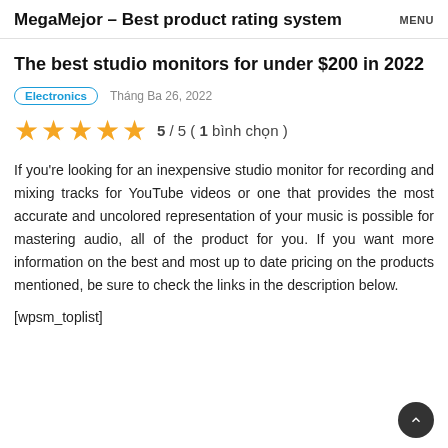MegaMejor – Best product rating system MENU
The best studio monitors for under $200 in 2022
Electronics   Tháng Ba 26, 2022
5 / 5 ( 1 bình chọn )
If you're looking for an inexpensive studio monitor for recording and mixing tracks for YouTube videos or one that provides the most accurate and uncolored representation of your music is possible for mastering audio, all of the product for you. If you want more information on the best and most up to date pricing on the products mentioned, be sure to check the links in the description below.
[wpsm_toplist]